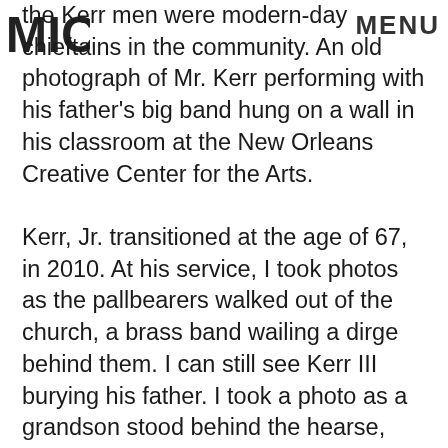MIC | MENU
the Kerr men were modern-day chieftains in the community. An old photograph of Mr. Kerr performing with his father's big band hung on a wall in his classroom at the New Orleans Creative Center for the Arts.
Kerr, Jr. transitioned at the age of 67, in 2010. At his service, I took photos as the pallbearers walked out of the church, a brass band wailing a dirge behind them. I can still see Kerr III burying his father. I took a photo as a grandson stood behind the hearse, silent and pensive at the casket of his grandfather: a final farewell. Only 11 years later, I experienced an unexpected farewell to Kerr III, a military veteran, law enforcement